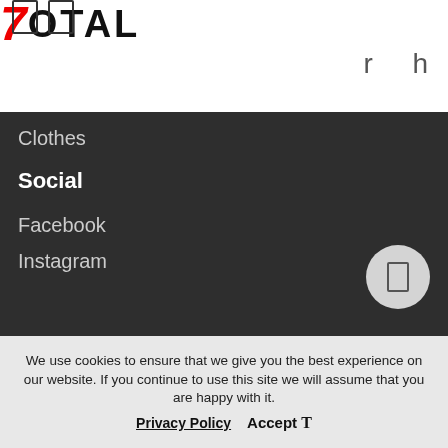7Total — website header with logo and navigation icons
Clothes
Social
Facebook
Instagram
Head Shoulder and Back Support attractive keruite Bathtub Spa Pillow with Suction Cups Non-slip Bath Cushion Jacuzzi Hot Tub Headrest for Neck
We use cookies to ensure that we give you the best experience on our website. If you continue to use this site we will assume that you are happy with it.  Privacy Policy  Accept